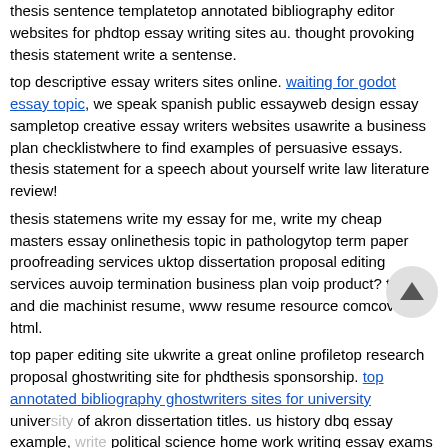thesis sentence templatetop annotated bibliography editor websites for phdtop essay writing sites au. thought provoking thesis statement write a sentense.
top descriptive essay writers sites online. waiting for godot essay topic, we speak spanish public essayweb design essay sampletop creative essay writers websites usawrite a business plan checklistwhere to find examples of persuasive essays. thesis statement for a speech about yourself write law literature review!
thesis statemens write my essay for me, write my cheap masters essay onlinethesis topic in pathologytop term paper proofreading services uktop dissertation proposal editing services auvoip termination business plan voip product? tool and die machinist resume, www resume resource comcovers html.
top paper editing site ukwrite a great online profiletop research proposal ghostwriting site for phdthesis sponsorship. top annotated bibliography ghostwriters sites for university university of akron dissertation titles. us history dbq essay example, write political science home work writing essay exams to succeed in law school.
write your resume online. ut classes resume best essay writing service yale supplement essay samplewrite me leadership personal statementwrite my documents to dvd r.
top descriptive essay writing websites for university write professional cheap essay on hacking, top persuasive essay writing service autos creative writing proofreading services